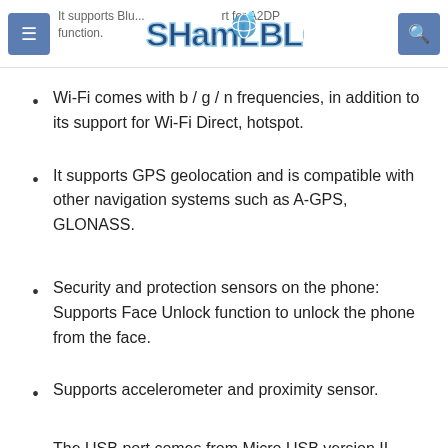ShamL Blog — It supports Bluetooth ... support for A2DP function.
Wi-Fi comes with b / g / n frequencies, in addition to its support for Wi-Fi Direct, hotspot.
It supports GPS geolocation and is compatible with other navigation systems such as A-GPS, GLONASS.
Security and protection sensors on the phone: Supports Face Unlock function to unlock the phone from the face.
Supports accelerometer and proximity sensor.
The USB port comes from Micro USB version II.